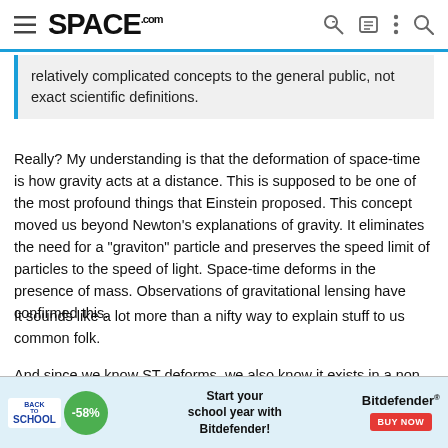SPACE.com
relatively complicated concepts to the general public, not exact scientific definitions.
Really? My understanding is that the deformation of space-time is how gravity acts at a distance. This is supposed to be one of the most profound things that Einstein proposed. This concept moved us beyond Newton's explanations of gravity. It eliminates the need for a "graviton" particle and preserves the speed limit of particles to the speed of light. Space-time deforms in the presence of mass. Observations of gravitational lensing have confirmed this.
It sounds like a lot more than a nifty way to explain stuff to us common folk.
And since we know ST deforms, we also know it exists in a non deformed state. Right?
[Figure (other): Advertisement banner: Back to School sale with -58% discount badge and Bitdefender promotion with BUY NOW button]